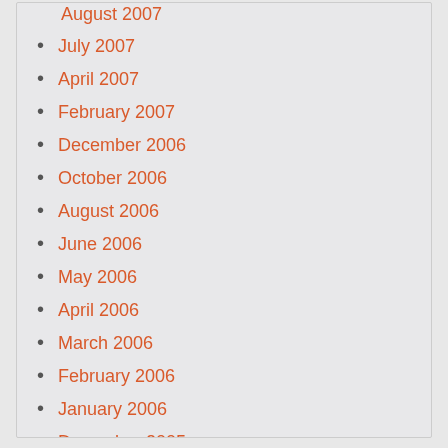August 2007
July 2007
April 2007
February 2007
December 2006
October 2006
August 2006
June 2006
May 2006
April 2006
March 2006
February 2006
January 2006
December 2005
November 2005
October 2005
September 2005